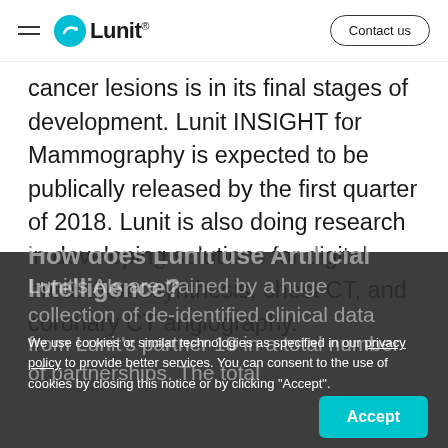Lunit
cancer lesions is in its final stages of development. Lunit INSIGHT for Mammography is expected to be publically released by the first quarter of 2018. Lunit is also doing research in developing solutions for digital breast tomosynthesis, chest CT, and coronary CT angiography.
How does Lunit use Artificial Intelligence?
Lunit's AIs are trained by a huge collection of de-identified clinical data from Lunit's partner 18 in a total number of partnerships. The total
We use cookies or similar technologies as specified in our privacy policy to provide better services. You can consent to the use of cookies by closing this notice or by clicking "Accept".